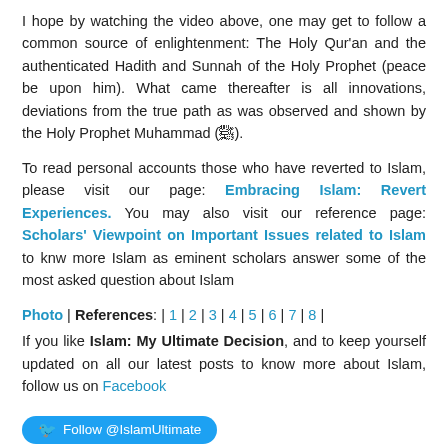I hope by watching the video above, one may get to follow a common source of enlightenment: The Holy Qur'an and the authenticated Hadith and Sunnah of the Holy Prophet (peace be upon him). What came thereafter is all innovations, deviations from the true path as was observed and shown by the Holy Prophet Muhammad (ﷺ).
To read personal accounts those who have reverted to Islam, please visit our page: Embracing Islam: Revert Experiences. You may also visit our reference page: Scholars' Viewpoint on Important Issues related to Islam to knw more Islam as eminent scholars answer some of the most asked question about Islam
Photo | References: | 1 | 2 | 3 | 4 | 5 | 6 | 7 | 8 | If you like Islam: My Ultimate Decision, and to keep yourself updated on all our latest posts to know more about Islam, follow us on Facebook
Follow @IslamUltimate
Please share this page to your friends and family members